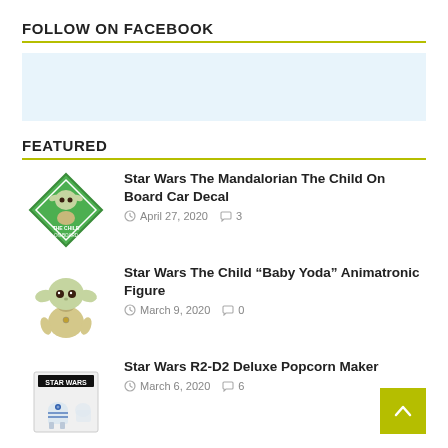FOLLOW ON FACEBOOK
[Figure (other): Facebook embed placeholder box (light blue background)]
FEATURED
[Figure (illustration): Green diamond-shaped Baby Yoda / The Child On Board car decal sticker]
Star Wars The Mandalorian The Child On Board Car Decal
April 27, 2020  3
[Figure (photo): Baby Yoda (The Child) animatronic plush figure toy]
Star Wars The Child “Baby Yoda” Animatronic Figure
March 9, 2020  0
[Figure (photo): Star Wars R2-D2 Deluxe Popcorn Maker product box]
Star Wars R2-D2 Deluxe Popcorn Maker
March 6, 2020  6